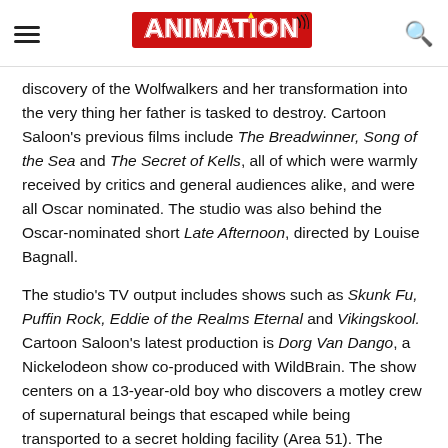Animation Magazine
discovery of the Wolfwalkers and her transformation into the very thing her father is tasked to destroy. Cartoon Saloon's previous films include The Breadwinner, Song of the Sea and The Secret of Kells, all of which were warmly received by critics and general audiences alike, and were all Oscar nominated. The studio was also behind the Oscar-nominated short Late Afternoon, directed by Louise Bagnall.
The studio's TV output includes shows such as Skunk Fu, Puffin Rock, Eddie of the Realms Eternal and Vikingskool. Cartoon Saloon's latest production is Dorg Van Dango, a Nickelodeon show co-produced with WildBrain. The show centers on a 13-year-old boy who discovers a motley crew of supernatural beings that escaped while being transported to a secret holding facility (Area 51). The series is co-created by Fabian Erlinghauser and Nora Twomey ( The